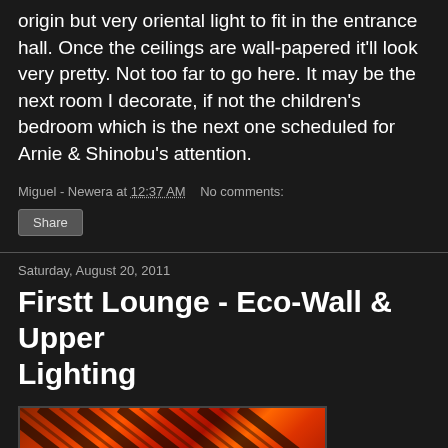origin but very oriental light to fit in the entrance hall. Once the ceilings are wall-papered it'll look very pretty. Not too far to go here. It may be the next room I decorate, if not the children's bedroom which is the next one scheduled for Arnie & Shinobu's attention.
Miguel - Newera at 12:37 AM   No comments:
Share
Saturday, August 20, 2011
Firstt Lounge - Eco-Wall & Upper Lighting
[Figure (photo): Interior photo showing warm orange-red illuminated ceiling or wall panels with diagonal wood slats lit from below, with a bright light source visible in lower left corner]